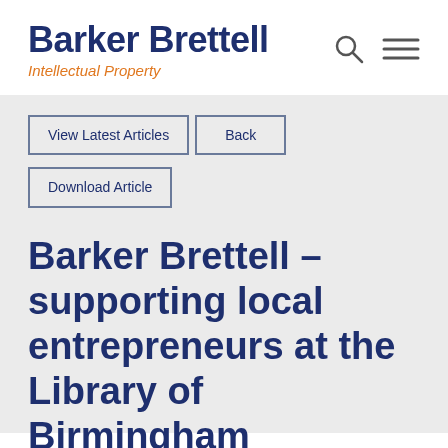Barker Brettell Intellectual Property
View Latest Articles
Back
Download Article
Barker Brettell – supporting local entrepreneurs at the Library of Birmingham
Posted on December 11, 2014